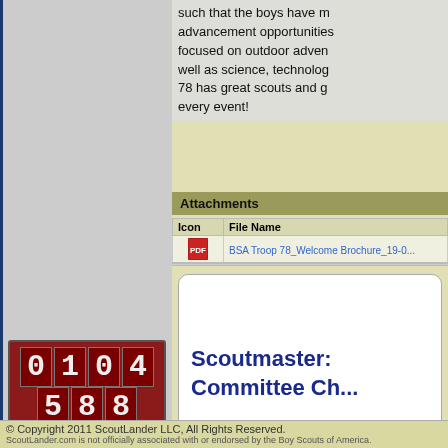such that the boys have many advancement opportunities focused on outdoor adventure as well as science, technology... 78 has great scouts and great every event!
Attachments
| Icon | File Name |
| --- | --- |
| [PDF icon] | BSA Troop 78_Welcome Brochure_19-0... |
Scoutmaster:
Committee Ch...
[Figure (other): Digital counter displaying 0104588 in red/dark red segmented digit display]
© Copyright 2011 ScoutLander LLC, All Rights Reserved. ScoutLander.com is not officially associated with or endorsed by the Boy Scouts of America.